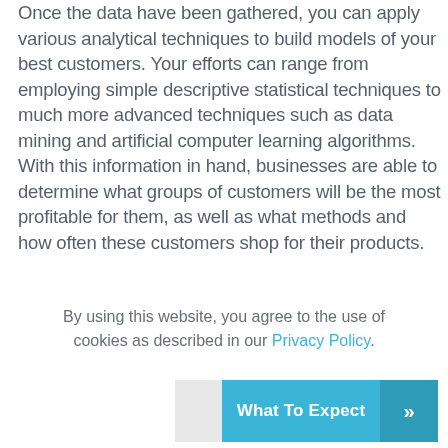Once the data have been gathered, you can apply various analytical techniques to build models of your best customers. Your efforts can range from employing simple descriptive statistical techniques to much more advanced techniques such as data mining and artificial computer learning algorithms. With this information in hand, businesses are able to determine what groups of customers will be the most profitable for them, as well as what methods and how often these customers shop for their products.
By using this website, you agree to the use of cookies as described in our Privacy Policy.
[Figure (other): A teal/blue button with text 'What To Expect' and a double right-arrow chevron on the right side in a darker teal panel]